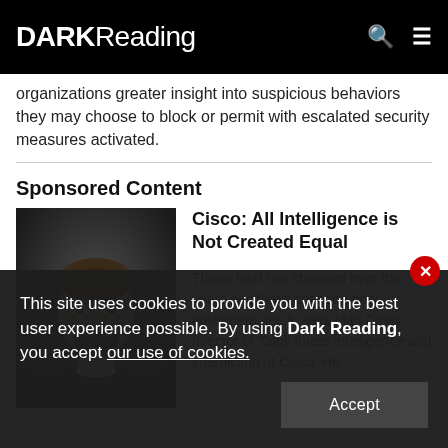DARK Reading
organizations greater insight into suspicious behaviors they may choose to block or permit with escalated security measures activated.
Sponsored Content
[Figure (photo): Headshot of Matt Olney, director of Talos threat intelligence and interdiction at Cisco — a bearded man in a dark jacket against a dark background.]
Cisco: All Intelligence is Not Created Equal
Threat intel has changed over the years and that's changed how customers use it, says Matt Olney, director of Talos threat intelligence and interdiction at Cisco. He
This site uses cookies to provide you with the best user experience possible. By using Dark Reading, you accept our use of cookies.
Accept